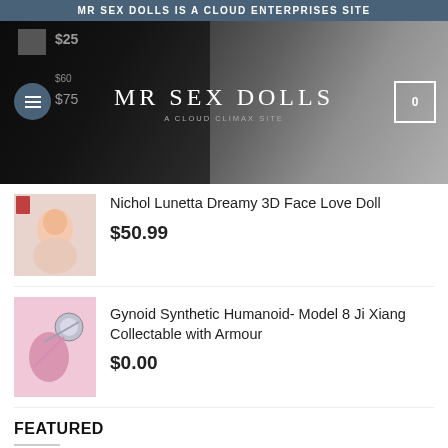MR SEX DOLLS IS A CLOUD ENTERPRISES SITE
[Figure (screenshot): Website hero banner with dark background, MR SEX DOLLS logo in white serif font, A CLOUD CLIMAX SITE subtitle, hamburger menu button on left, shopping cart button top right, partial price labels visible on left side]
Nichol Lunetta Dreamy 3D Face Love Doll
$50.99
Gynoid Synthetic Humanoid- Model 8 Ji Xiang Collectable with Armour
$0.00
FEATURED
WM Doll GOLD UK 164cm F Cup with Head 413
$2,428.99  $2,131.99